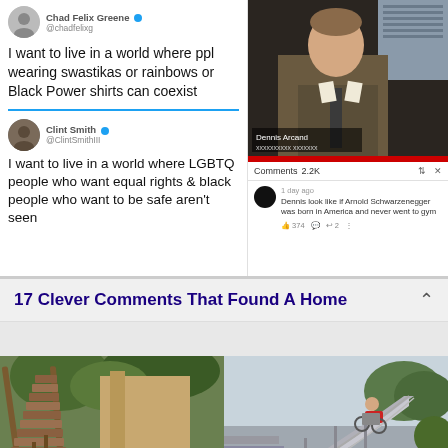[Figure (screenshot): Screenshot of tweets and YouTube comment section. Left side shows two tweets: one from Chad Felix Greene (@chadfelixg) saying 'I want to live in a world where ppl wearing swastikas or rainbows or Black Power shirts can coexist', and one from Clint Smith (@ClintSmithIII) saying 'I want to live in a world where LGBTQ people who want equal rights & black people who want to be safe aren't seen...'. Right side shows a YouTube video thumbnail of a man in a suit with caption 'Dennis Arcand' and a comment saying 'Dennis look like if Arnold Schwarzenegger was born in America and never went to gym' with 374 likes.]
17 Clever Comments That Found A Home
[Figure (photo): Two side-by-side photos: left shows outdoor wooden stairs/staircase surrounded by greenery; right shows a person in a wheelchair using a curved ramp alongside stairs in an outdoor setting.]